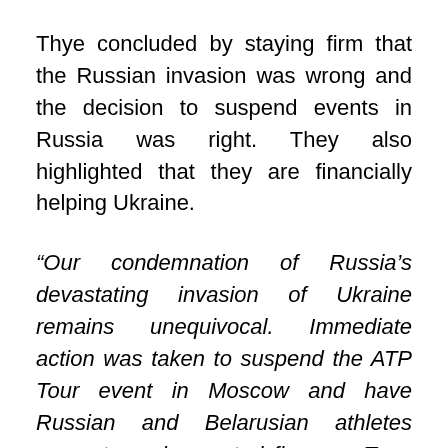Thye concluded by staying firm that the Russian invasion was wrong and the decision to suspend events in Russia was right. They also highlighted that they are financially helping Ukraine.
“Our condemnation of Russia’s devastating invasion of Ukraine remains unequivocal. Immediate action was taken to suspend the ATP Tour event in Moscow and have Russian and Belarusian athletes compete under neutral flags on Tour. In parallel, we have continued our humanitarian support for Ukraine, together with the other governing bodies of tennis, as well as providing direct financial assistance to many